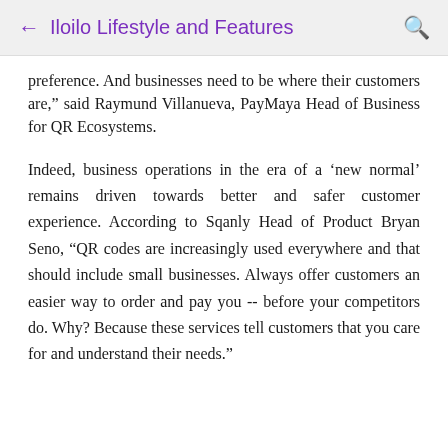Iloilo Lifestyle and Features
preference. And businesses need to be where their customers are," said Raymund Villanueva, PayMaya Head of Business for QR Ecosystems.
Indeed, business operations in the era of a ‘new normal’ remains driven towards better and safer customer experience. According to Sqanly Head of Product Bryan Seno, “QR codes are increasingly used everywhere and that should include small businesses. Always offer customers an easier way to order and pay you -- before your competitors do. Why? Because these services tell customers that you care for and understand their needs.”